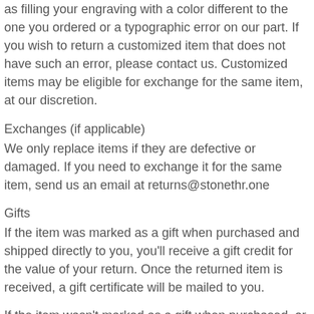as filling your engraving with a color different to the one you ordered or a typographic error on our part. If you wish to return a customized item that does not have such an error, please contact us. Customized items may be eligible for exchange for the same item, at our discretion.
Exchanges (if applicable)
We only replace items if they are defective or damaged. If you need to exchange it for the same item, send us an email at returns@stonethr.one
Gifts
If the item was marked as a gift when purchased and shipped directly to you, you'll receive a gift credit for the value of your return. Once the returned item is received, a gift certificate will be mailed to you.
If the item wasn't marked as a gift when purchased, or the gift giver had the order shipped to themselves to give to you later, we will send a refund to the gift giver and he or she will find out about your return.